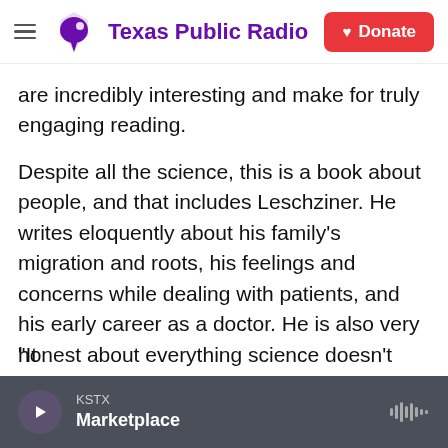Texas Public Radio | Donate
are incredibly interesting and make for truly engaging reading.
Despite all the science, this is a book about people, and that includes Leschziner. He writes eloquently about his family's migration and roots, his feelings and concerns while dealing with patients, and his early career as a doctor. He is also very honest about everything science doesn't know about the brain and the nervous system, the way doctors learn to accept their own mortality, and even the impact of the Covid-19 pandemic on the profession:
"It...
KSTX Marketplace